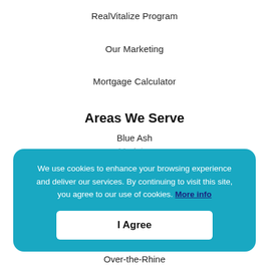RealVitalize Program
Our Marketing
Mortgage Calculator
Areas We Serve
Blue Ash
Madeira
We use cookies to enhance your browsing experience and deliver our services. By continuing to visit this site, you agree to our use of cookies. More info
I Agree
Over-the-Rhine